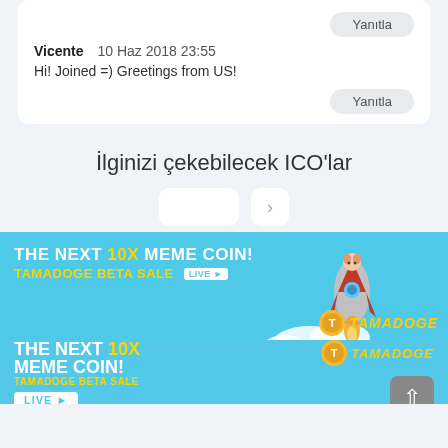Yanıtla
Vicente    10 Haz 2018 23:55
Hi! Joined =) Greetings from US!
Yanıtla
İlginizi çekebilecek ICO'lar
[Figure (screenshot): Tamadoge advertisement banner with cyan background, rocket, dog characters, and clouds. Text: THE NEXT 10X MEME COIN! TAMADOGE BETA SALE LIVE. Repeated in larger text below.]